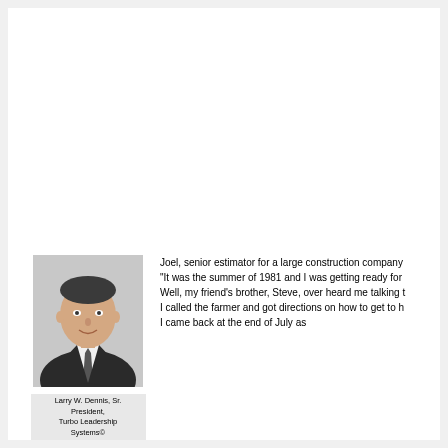[Figure (photo): Black and white portrait photo of a middle-aged man in a suit and tie, smiling]
Larry W. Dennis, Sr. President, Turbo Leadership Systems©
Joel, senior estimator for a large construction company "It was the summer of 1981 and I was getting ready for Well, my friend's brother, Steve, over heard me talking t I called the farmer and got directions on how to get to h I came back at the end of July as